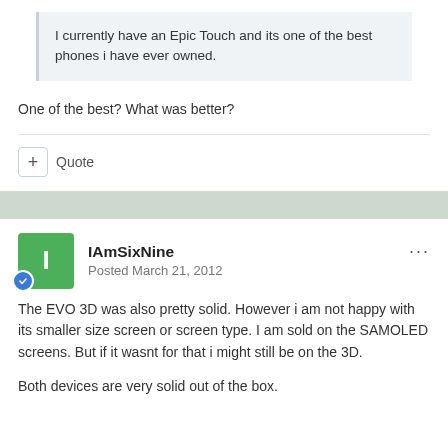I currently have an Epic Touch and its one of the best phones i have ever owned.
One of the best? What was better?
+ Quote
IAmSixNine
Posted March 21, 2012
The EVO 3D was also pretty solid. However i am not happy with its smaller size screen or screen type. I am sold on the SAMOLED screens. But if it wasnt for that i might still be on the 3D.
Both devices are very solid out of the box.